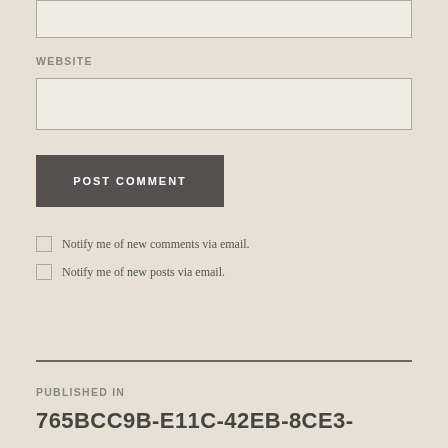WEBSITE
POST COMMENT
Notify me of new comments via email.
Notify me of new posts via email.
PUBLISHED IN
765BCC9B-E11C-42EB-8CE3-